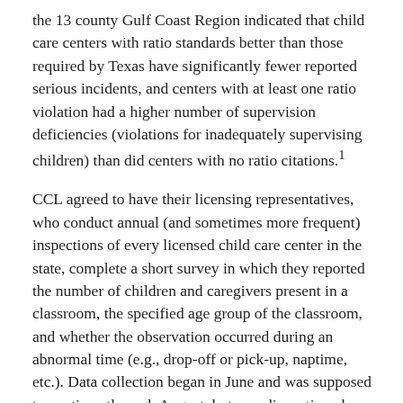the 13 county Gulf Coast Region indicated that child care centers with ratio standards better than those required by Texas have significantly fewer reported serious incidents, and centers with at least one ratio violation had a higher number of supervision deficiencies (violations for inadequately supervising children) than did centers with no ratio citations.1
CCL agreed to have their licensing representatives, who conduct annual (and sometimes more frequent) inspections of every licensed child care center in the state, complete a short survey in which they reported the number of children and caregivers present in a classroom, the specified age group of the classroom, and whether the observation occurred during an abnormal time (e.g., drop-off or pick-up, naptime, etc.). Data collection began in June and was supposed to continue through August, but was discontinued